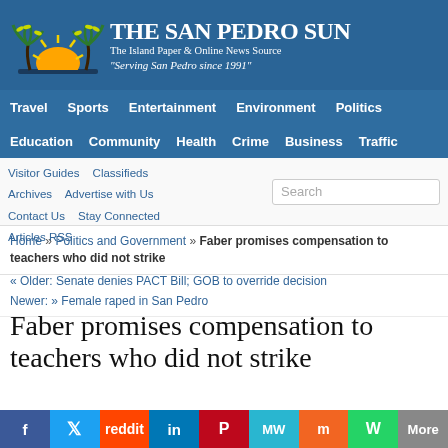[Figure (logo): The San Pedro Sun newspaper logo with palm trees and sunset illustration]
THE SAN PEDRO SUN
The Island Paper & Online News Source
"Serving San Pedro since 1991"
Travel  Sports  Entertainment  Environment  Politics
Education  Community  Health  Crime  Business  Traffic
Visitor Guides   Classifieds   Archives   Advertise with Us   Contact Us   Stay Connected   Articles RSS
Home » Politics and Government » Faber promises compensation to teachers who did not strike
« Older: Senate denies PACT Bill; GOB to override decision
Newer: » Female raped in San Pedro
Faber promises compensation to teachers who did not strike